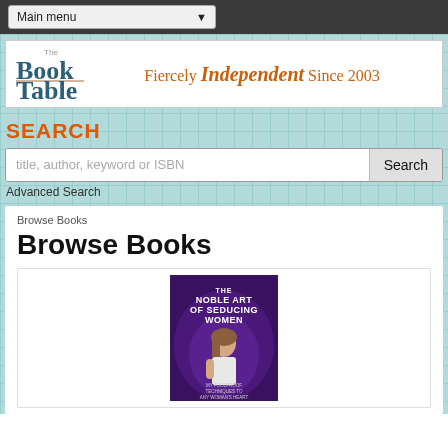Main menu
[Figure (logo): The Book Table logo with tagline 'Fiercely Independent Since 2003']
SEARCH
title, author, keyword or ISBN [Search button] Advanced Search
Browse Books
Browse Books
[Figure (photo): Book cover: The Noble Art of Seducing Women - shows a woman with text overlay on purple background]